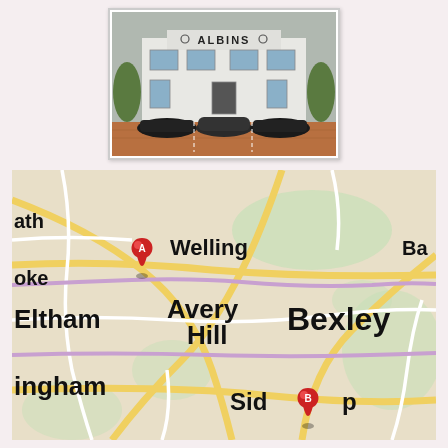[Figure (photo): Aerial/front view of Albins funeral directors building with three black cars parked in front on a brick-paved forecourt. The building has 'ALBINS' signage on the white facade.]
[Figure (map): Google Maps style map showing area around Welling, Bexley, Eltham, Avery Hill, Sidcup in South East London. Two red map pins marked A and B are visible, with A near Welling and B near Sidcup.]